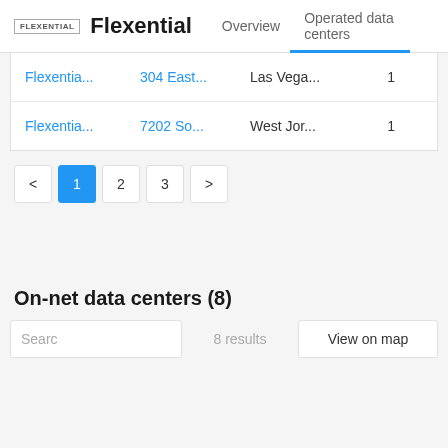Flexential | Overview | Operated data centers
| Name | Address | City | Count |
| --- | --- | --- | --- |
| Flexentia... | 304 East... | Las Vega... | 1 |
| Flexentia... | 7202 So... | West Jor... | 1 |
< 1 2 3 >
On-net data centers (8)
Search | 8 results | View on map